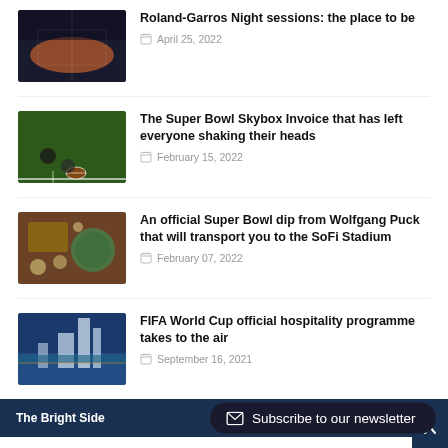Roland-Garros Night sessions: the place to be — April 25, 2022
The Super Bowl Skybox Invoice that has left everyone shaking their heads — February 15, 2022
An official Super Bowl dip from Wolfgang Puck that will transport you to the SoFi Stadium — February 07, 2022
FIFA World Cup official hospitality programme takes to the air — September 16, 2021
The Bright Side
Subscribe to our newsletter
Thank you Lancashire for making the best of